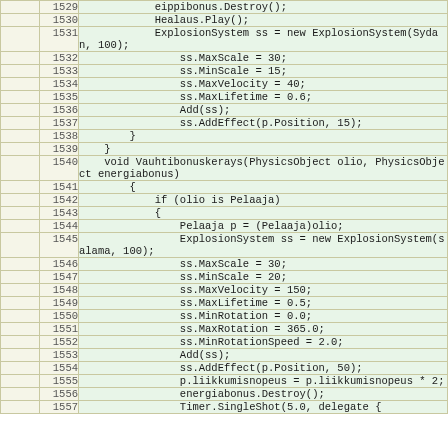[Figure (screenshot): Source code editor showing C# code lines 1529-1557 with line numbers in left column and green-tinted code area on right. Code shows methods for handling physics object collisions including ExplosionSystem and VauhtibonuskerAys methods.]